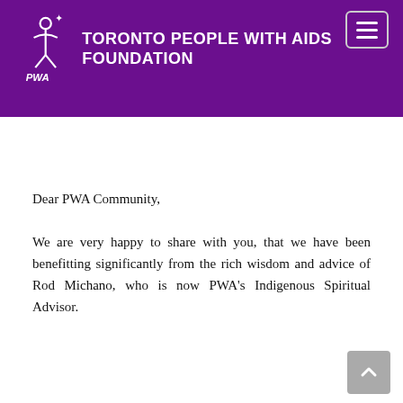TORONTO PEOPLE WITH AIDS FOUNDATION
Dear PWA Community,
We are very happy to share with you, that we have been benefitting significantly from the rich wisdom and advice of Rod Michano, who is now PWA's Indigenous Spiritual Advisor.